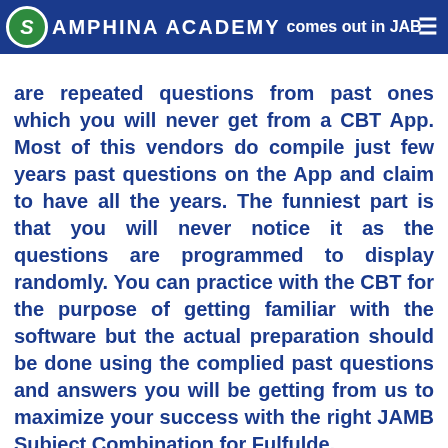SAMPHINA ACADEMY comes out in JAM
are repeated questions from past ones which you will never get from a CBT App. Most of this vendors do compile just few years past questions on the App and claim to have all the years. The funniest part is that you will never notice it as the questions are programmed to display randomly. You can practice with the CBT for the purpose of getting familiar with the software but the actual preparation should be done using the complied past questions and answers you will be getting from us to maximize your success with the right JAMB Subject Combination for Fulfulde.